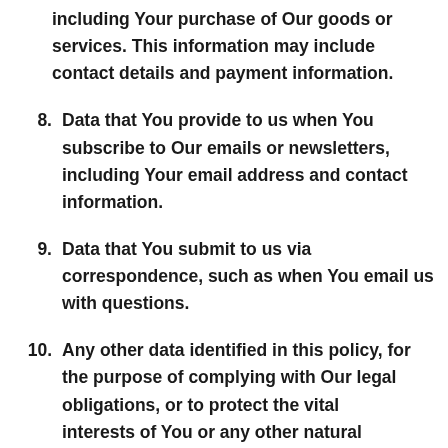including Your purchase of Our goods or services. This information may include contact details and payment information.
8. Data that You provide to us when You subscribe to Our emails or newsletters, including Your email address and contact information.
9. Data that You submit to us via correspondence, such as when You email us with questions.
10. Any other data identified in this policy, for the purpose of complying with Our legal obligations, or to protect the vital interests of You or any other natural